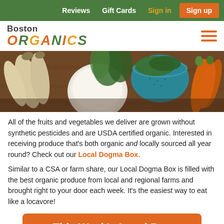Reviews   Gift Cards   Sign in   Sign up
[Figure (logo): Boston Organics logo with colorful organic-style lettering]
[Figure (photo): Various organic vegetables including parsnips, turnip, leafy greens in a teal colander, and carrots on a wooden table]
All of the fruits and vegetables we deliver are grown without synthetic pesticides and are USDA certified organic. Interested in receiving produce that's both organic and locally sourced all year round? Check out our Local Dogma Box.
Similar to a CSA or farm share, our Local Dogma Box is filled with the best organic produce from local and regional farms and brought right to your door each week. It's the easiest way to eat like a locavore!
This Week's Local Box